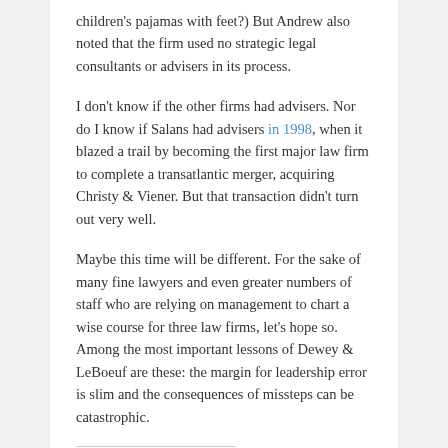children's pajamas with feet?) But Andrew also noted that the firm used no strategic legal consultants or advisers in its process.
I don't know if the other firms had advisers. Nor do I know if Salans had advisers in 1998, when it blazed a trail by becoming the first major law firm to complete a transatlantic merger, acquiring Christy & Viener. But that transaction didn't turn out very well.
Maybe this time will be different. For the sake of many fine lawyers and even greater numbers of staff who are relying on management to chart a wise course for three law firms, let's hope so. Among the most important lessons of Dewey & LeBoeuf are these: the margin for leadership error is slim and the consequences of missteps can be catastrophic.
SHARE THIS:
Email  Twitter  Facebook  Tumblr